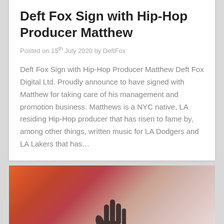Deft Fox Sign with Hip-Hop Producer Matthew
Posted on 15th July 2020 by DeftFox
Deft Fox Sign with Hip-Hop Producer Matthew Deft Fox Digital Ltd. Proudly announce to have signed with Matthew for taking care of his management and promotion business. Matthews is a NYC native, LA residing Hip-Hop producer that has risen to fame by, among other things, written music for LA Dodgers and LA Lakers that has…
[Figure (photo): A silhouette of a hand reaching up against a warm orange and muted grey bokeh background]